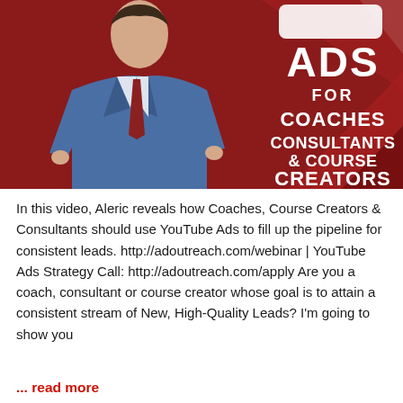[Figure (illustration): Promotional banner with dark red background showing a man in a blue suit and text: ADS FOR COACHES CONSULTANTS & COURSE CREATORS]
In this video, Aleric reveals how Coaches, Course Creators & Consultants should use YouTube Ads to fill up the pipeline for consistent leads. http://adoutreach.com/webinar | YouTube Ads Strategy Call: http://adoutreach.com/apply Are you a coach, consultant or course creator whose goal is to attain a consistent stream of New, High-Quality Leads? I'm going to show you
... read more